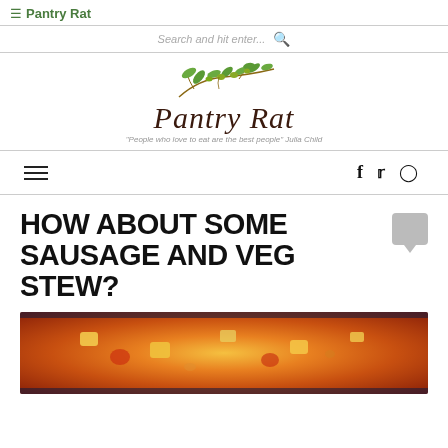≡ Pantry Rat
Search and hit enter...
[Figure (logo): Pantry Rat blog logo with olive branch watercolor illustration and script text, tagline: People who love to eat are the best people - Julia Child]
HOW ABOUT SOME SAUSAGE AND VEG STEW?
[Figure (photo): Close-up photo of sausage and vegetable stew in a dark pan, showing orange broth with chunks of vegetables]